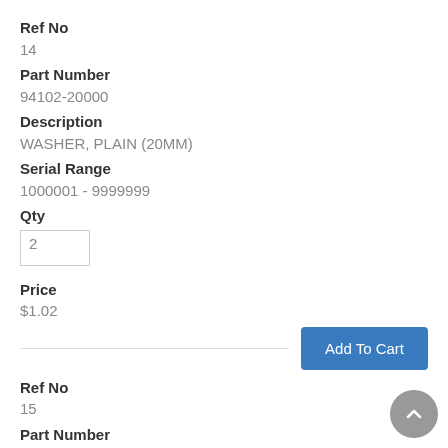Ref No
14
Part Number
94102-20000
Description
WASHER, PLAIN (20MM)
Serial Range
1000001 - 9999999
Qty
2
Price
$1.02
Ref No
15
Part Number
94201-40280
Description
PIN, SPLIT (4.0X28)